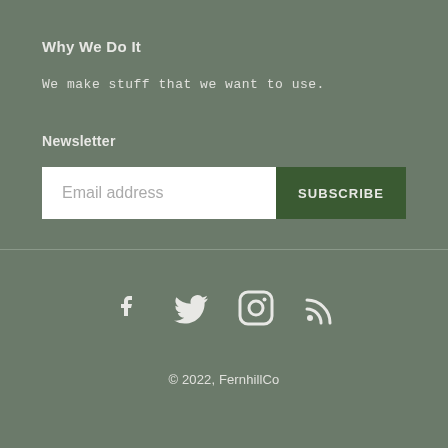Why We Do It
We make stuff that we want to use.
Newsletter
Email address  SUBSCRIBE
[Figure (other): Social media icons: Facebook, Twitter, Instagram, RSS feed]
© 2022, FernhillCo